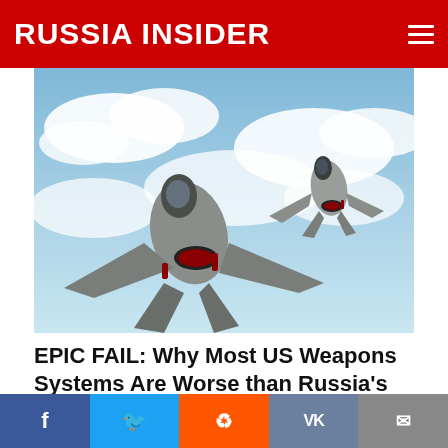RUSSIA INSIDER
[Figure (photo): Two F-35 fighter jets flying above clouds]
EPIC FAIL: Why Most US Weapons Systems Are Worse than Russia's
Jacob Dreizin 🔥 68,858 💬 Comments
[Figure (photo): Explosion engulfing a large naval vessel at sea]
Facebook | Twitter | Reddit | VK | Email social share bar